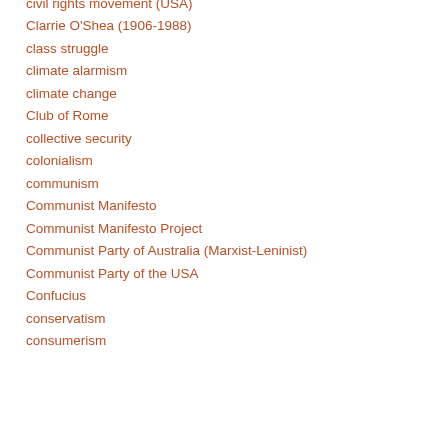civil rights movement (USA)
Clarrie O'Shea (1906-1988)
class struggle
climate alarmism
climate change
Club of Rome
collective security
colonialism
communism
Communist Manifesto
Communist Manifesto Project
Communist Party of Australia (Marxist-Leninist)
Communist Party of the USA
Confucius
conservatism
consumerism